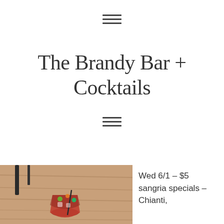[Figure (other): Hamburger menu icon (three horizontal lines) at top center]
The Brandy Bar + Cocktails
[Figure (other): Hamburger menu icon (three horizontal lines) below title]
[Figure (photo): Photo of sangria drinks in glasses on a wooden table]
Wed 6/1 – $5 sangria specials – Chianti,